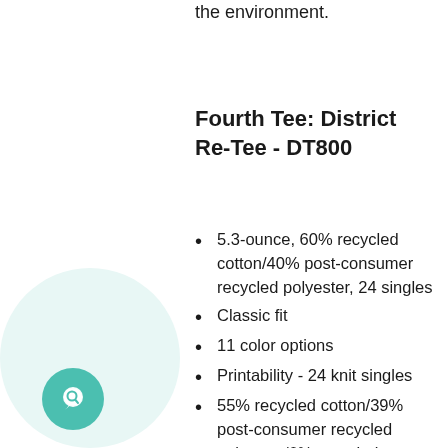the environment.
Fourth Tee: District Re-Tee - DT800
5.3-ounce, 60% recycled cotton/40% post-consumer recycled polyester, 24 singles
Classic fit
11 color options
Printability - 24 knit singles
55% recycled cotton/39% post-consumer recycled polyester/6% recycled rayon, 24 singles (Light Heather